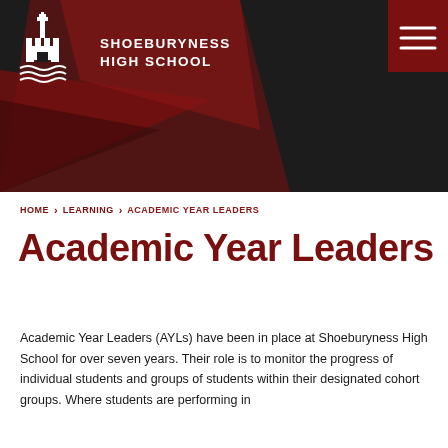[Figure (logo): Shoeburyness High School logo with castle/lighthouse emblem and school name in white text on dark background, with hamburger menu button in dark red]
HOME > LEARNING > ACADEMIC YEAR LEADERS
Academic Year Leaders
Academic Year Leaders (AYLs) have been in place at Shoeburyness High School for over seven years. Their role is to monitor the progress of individual students and groups of students within their designated cohort groups. Where students are performing in